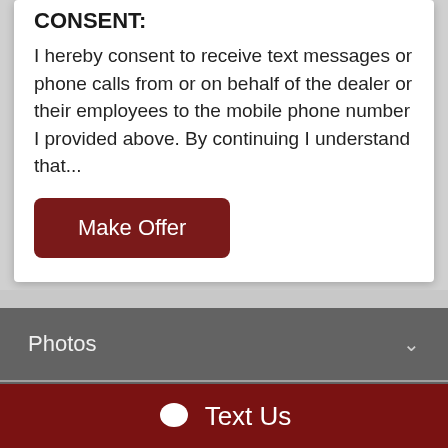CONSENT:
I hereby consent to receive text messages or phone calls from or on behalf of the dealer or their employees to the mobile phone number I provided above. By continuing I understand that...
[Figure (screenshot): Make Offer dark red button]
Photos ∨
CarStory® ∨
Send to a friend ∨
[Figure (screenshot): Text Us button bar with chat icon]
Text Us